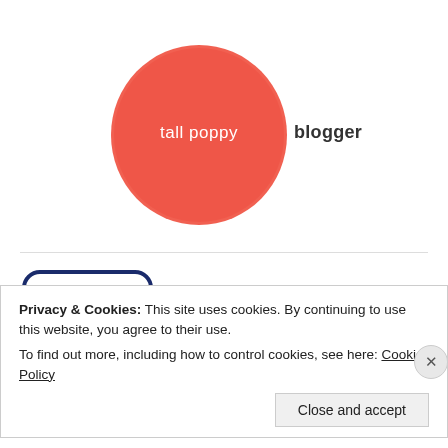[Figure (logo): Tall Poppy Blogger logo: a red hand-drawn circle with 'tall poppy' in white text and 'blogger' in dark text to the right]
[Figure (logo): TLC logo: blue rounded rectangle border with cloud and 'tlc' letters icon inside]
Privacy & Cookies: This site uses cookies. By continuing to use this website, you agree to their use.
To find out more, including how to control cookies, see here: Cookie Policy
Close and accept